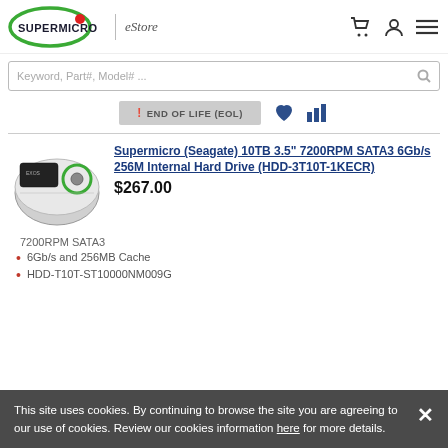[Figure (logo): Supermicro logo with green oval and red dot, text SUPERMICRO in dark letters]
SUPERMICRO | eStore
Keyword, Part#, Model# ...
END OF LIFE (EOL)
[Figure (photo): Supermicro/Seagate 3.5 inch hard drive disk top-down view]
Supermicro (Seagate) 10TB 3.5" 7200RPM SATA3 6Gb/s 256M Internal Hard Drive (HDD-3T10T-1KECR)
$267.00
6Gb/s and 256MB Cache
HDD-T10T-ST10000NM009G
This site uses cookies. By continuing to browse the site you are agreeing to our use of cookies. Review our cookies information here for more details.